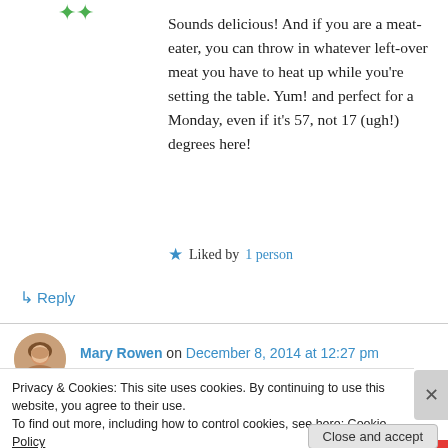[Figure (illustration): Green star/asterisk icon at top left of comment]
Sounds delicious! And if you are a meat-eater, you can throw in whatever left-over meat you have to heat up while you're setting the table. Yum! and perfect for a Monday, even if it's 57, not 17 (ugh!) degrees here!
★ Liked by 1 person
↳ Reply
[Figure (photo): Circular avatar photo of Mary Rowen, a woman with light brown hair]
Mary Rowen on December 8, 2014 at 12:27 pm
Privacy & Cookies: This site uses cookies. By continuing to use this website, you agree to their use.
To find out more, including how to control cookies, see here: Cookie Policy
Close and accept